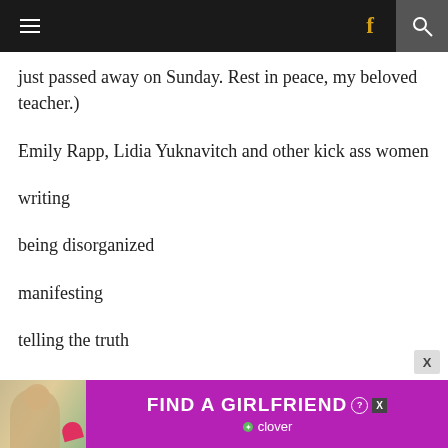Navigation bar with hamburger menu, Facebook icon, and search icon
just passed away on Sunday. Rest in peace, my beloved teacher.)
Emily Rapp, Lidia Yuknavitch and other kick ass women
writing
being disorganized
manifesting
telling the truth
having a baby, or not
[Figure (advertisement): Ad banner for 'FIND A GIRLFRIEND' by Clover app, purple background with woman photo]